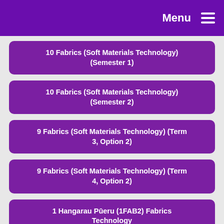Menu
10 Fabrics (Soft Materials Technology) (Semester 1)
10 Fabrics (Soft Materials Technology) (Semester 2)
9 Fabrics (Soft Materials Technology) (Term 3, Option 2)
9 Fabrics (Soft Materials Technology) (Term 4, Option 2)
1 Hangarau Pūeru (1FAB2) Fabrics Technology